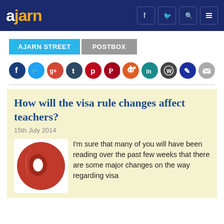ajarn
AJARN STREET  POSTBOX
[Figure (infographic): Row of 11 social media sharing icon circles: Facebook (dark blue), Twitter (light blue), Google+ (red-orange), Tumblr (dark blue), Pinterest (red), Pocket (dark red), Reddit (orange-red), LinkedIn (teal), WordPress (dark gray), Pinterest pin (dark blue), Email (gray)]
How will the visa rule changes affect teachers?
15th July 2014
[Figure (illustration): Illustration of a red rolled-up scroll or tape with a circular hole, on a light background]
I'm sure that many of you will have been reading over the past few weeks that there are some major changes on the way regarding visa